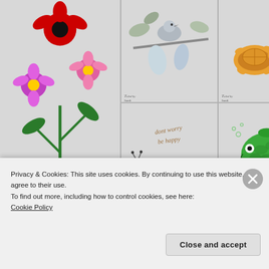[Figure (illustration): Grid of clipart illustrations: large flower in red pot (top-left, spanning 2 rows), bird branch leaves (top-center), turtle animals (top-right), caterpillar with 'dont worry be happy' text (mid-center), green fish (mid-right), botanical flower vine (bottom-left, spanning rows), winged creature fairy (mid-center-lower), candle heart 'You light up my life' (mid-right-lower), 'Be Classy' text with crown (bottom-center), butterfly/gem (bottom-right). Each cell has a 'Tuled by Sandi' watermark.]
Privacy & Cookies: This site uses cookies. By continuing to use this website, you agree to their use.
To find out more, including how to control cookies, see here:
Cookie Policy
Close and accept